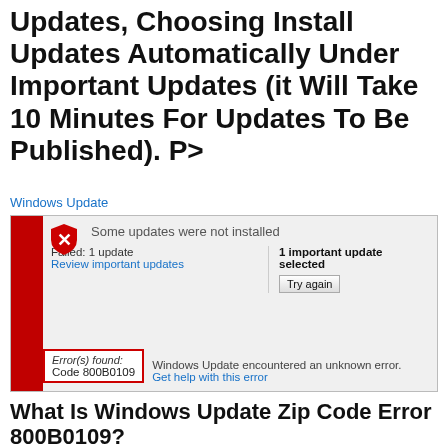Updates, Choosing Install Updates Automatically Under Important Updates (it Will Take 10 Minutes For Updates To Be Published). P>
Windows Update
[Figure (screenshot): Windows Update error dialog showing 'Some updates were not installed', Failed: 1 update, Review important updates, 1 important update selected, Try again button, Error(s) found: Code 800B0109, Windows Update encountered an unknown error, Get help with this error]
What Is Windows Update Zip Code Error 800B0109?
It is very convenient and easy to use, but some users find it difficult and encounter a problem. Windows zip code error 800B0109. This error